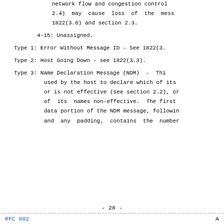network flow and congestion control
2.4) may cause loss of the mess
1822(3.6) and section 2.3.
4-15: Unassigned.
Type 1: Error Without Message ID - See 1822(3.
Type 2: Host Going Down - see 1822(3.3).
Type 3: Name Declaration Message (NDM) - Thi used by the host to declare which of its or is not effective (see section 2.2), or of its names non-effective. The first data portion of the NDM message, followin and any padding, contains the number
- 28 -
RFC 802                                                                    A